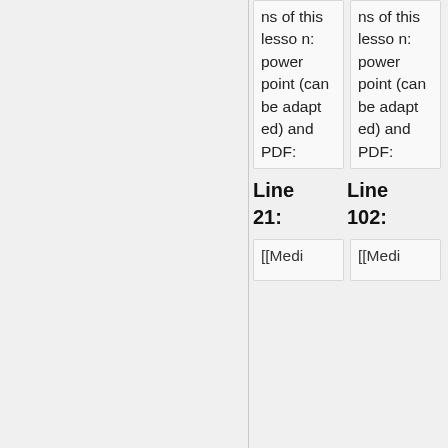|  | Line 21: | Line 102: |
| --- | --- | --- |
| ns of this lesson: powerpoint (can be adapted) and PDF: | ns of this lesson: powerpoint (can be adapted) and PDF: |
| [[Medi | [[Medi |